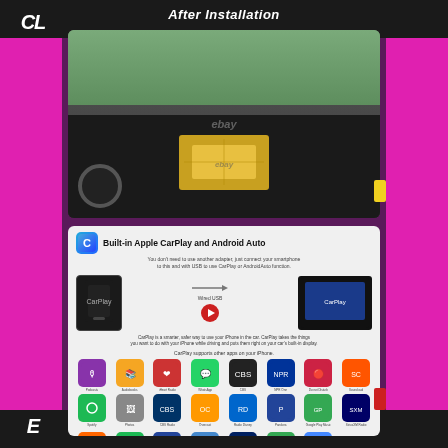After Installation
[Figure (photo): Car interior photo showing a VW vehicle dashboard with a touchscreen navigation/infotainment unit installed, showing a map on the display. Road/countryside visible through windshield. eBay watermark visible.]
[Figure (infographic): Built-in Apple CarPlay and Android Auto infographic showing: Apple CarPlay/Android Auto icon, title text, subtitle explaining no adapter needed. Diagram showing iPhone connected via Wired USB to car head unit displaying CarPlay interface. Description text about CarPlay. App icons grid showing Podcasts, Audiobooks, iHeart Radio, WhatsApp, CBS, NPR One, Do not Disturb, Souncloud, Spotify, Photos, CBS Radio, Overcast, Radio Disney, Pandora, Google Play Music, SiriusXM Radio, Audible, Spotify, Pandora, Carrot Weather, MLB, Maps, Messages.]
Built-in Apple CarPlay and Android Auto
You don't need to use another adapter, just connect your smartphone to this and with USB to use CarPlay or AndroidAuto function.
CarPlay is a smarter, safer way to use your iPhone in the car. CarPlay takes the things you want to do with your iPhone while driving and puts them right on your car's built-in display.
CarPlay supports other apps on your iPhone.